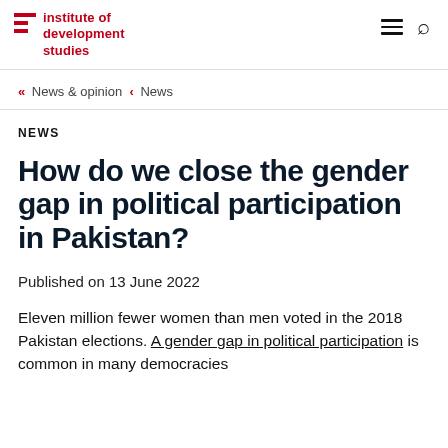Institute of development studies
« News & opinion ‹ News
NEWS
How do we close the gender gap in political participation in Pakistan?
Published on 13 June 2022
Eleven million fewer women than men voted in the 2018 Pakistan elections. A gender gap in political participation is common in many democracies